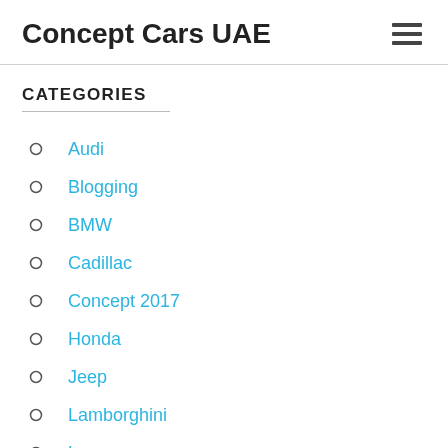Concept Cars UAE
CATEGORIES
Audi
Blogging
BMW
Cadillac
Concept 2017
Honda
Jeep
Lamborghini
Lexus
Lexus
Lincoln
Mazda